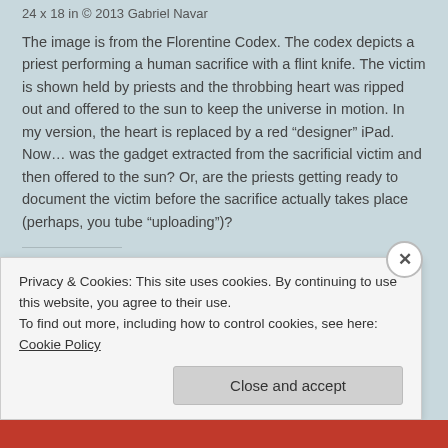24 x 18 in © 2013 Gabriel Navar
The image is from the Florentine Codex. The codex depicts a priest performing a human sacrifice with a flint knife. The victim is shown held by priests and the throbbing heart was ripped out and offered to the sun to keep the universe in motion. In my version, the heart is replaced by a red "designer" iPad. Now… was the gadget extracted from the sacrificial victim and then offered to the sun? Or, are the priests getting ready to document the victim before the sacrifice actually takes place (perhaps, you tube "uploading")?
Share this:
Privacy & Cookies: This site uses cookies. By continuing to use this website, you agree to their use.
To find out more, including how to control cookies, see here: Cookie Policy
Close and accept